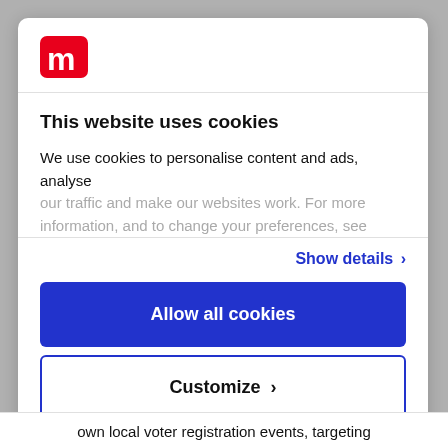[Figure (logo): Mango logo — stylized red 'm' in a rounded square]
This website uses cookies
We use cookies to personalise content and ads, analyse our traffic and make our websites work. For more information, and to change your preferences, see
Show details >
Allow all cookies
Customize >
Powered by Cookiebot by Usercentrics
own local voter registration events, targeting